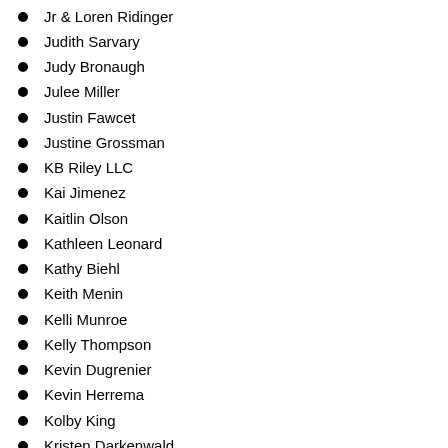Jr & Loren Ridinger
Judith Sarvary
Judy Bronaugh
Julee Miller
Justin Fawcet
Justine Grossman
KB Riley LLC
Kai Jimenez
Kaitlin Olson
Kathleen Leonard
Kathy Biehl
Keith Menin
Kelli Munroe
Kelly Thompson
Kevin Dugrenier
Kevin Herrema
Kolby King
Kristen Darkenwald
Fundação Família LBL